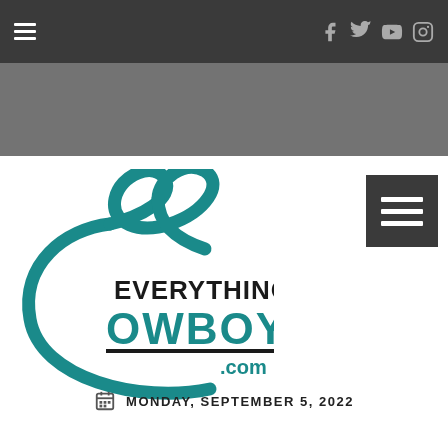Navigation bar with hamburger menu and social icons (Facebook, Twitter, YouTube, Instagram)
[Figure (logo): EverythingCowboy.com logo with teal infinity/C shape and bold text]
MONDAY, SEPTEMBER 5, 2022